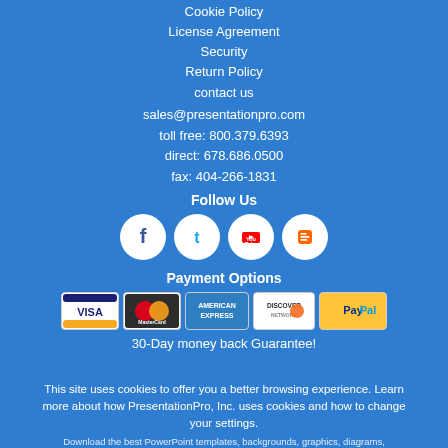Cookie Policy
License Agreement
Security
Return Policy
contact us
sales@presentationpro.com
toll free: 800.379.6393
direct: 678.686.0500
fax: 404-266-1831
Follow Us
[Figure (illustration): Social media icons: Facebook, Twitter, YouTube, Blogger in white circles]
Payment Options
[Figure (illustration): Payment card logos: Visa, MasterCard, American Express, Discover, PayPal]
30-Day money back Guarantee!
This site uses cookies to offer you a better browsing experience. Learn more about how PresentationPro, Inc. uses cookies and how to change your settings. Download the best PowerPoint templates, backgrounds, graphics, diagrams, infographics and plugins for Microsoft® PowerPoint® from PresentationPro. PresentationPro was started in 1993 in Atlanta, GA building high end custom